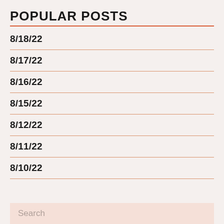POPULAR POSTS
8/18/22
8/17/22
8/16/22
8/15/22
8/12/22
8/11/22
8/10/22
Search